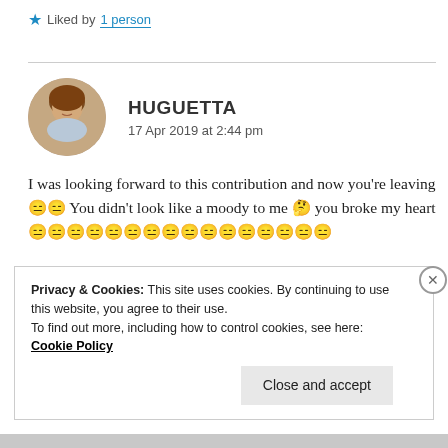Liked by 1 person
HUGUETTA
17 Apr 2019 at 2:44 pm
I was looking forward to this contribution and now you're leaving 😑😑 You didn't look like a moody to me 🙄 you broke my heart 😑😑😑😑😑😑😑😑😑😑😑😑😑😑😑😑
Privacy & Cookies: This site uses cookies. By continuing to use this website, you agree to their use.
To find out more, including how to control cookies, see here: Cookie Policy
Close and accept